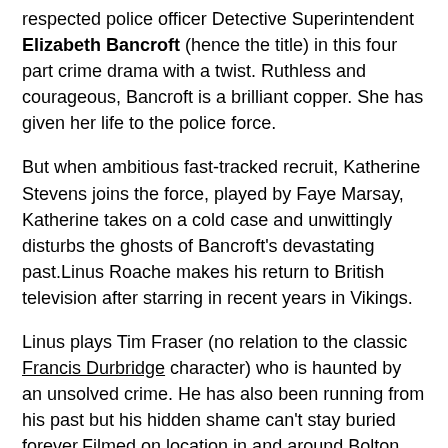respected police officer Detective Superintendent Elizabeth Bancroft (hence the title) in this four part crime drama with a twist. Ruthless and courageous, Bancroft is a brilliant copper. She has given her life to the police force.
But when ambitious fast-tracked recruit, Katherine Stevens joins the force, played by Faye Marsay, Katherine takes on a cold case and unwittingly disturbs the ghosts of Bancroft's devastating past.Linus Roache makes his return to British television after starring in recent years in Vikings.
Linus plays Tim Fraser (no relation to the classic Francis Durbridge character) who is haunted by an unsolved crime. He has also been running from his past but his hidden shame can't stay buried forever.Filmed on location in and around Bolton and the North West. The serial was shown over four consecutive evenings.